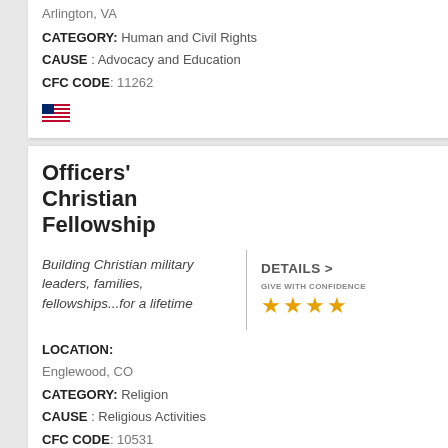Arlington, VA
CATEGORY: Human and Civil Rights
CAUSE : Advocacy and Education
CFC CODE: 11262
Officers' Christian Fellowship
Building Christian military leaders, families, fellowships...for a lifetime
LOCATION: Englewood, CO
CATEGORY: Religion
CAUSE : Religious Activities
CFC CODE: 10531